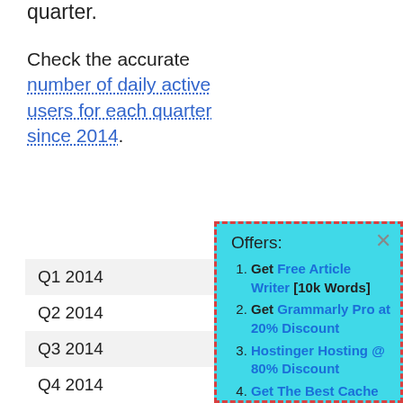quarter.
Check the accurate number of daily active users for each quarter since 2014.
| Q1 2014 |
| Q2 2014 |
| Q3 2014 |
| Q4 2014 |
| Q1 2015 |
| Q2 2015 |
| Q3 2015 |
| Q4 2015 |
[Figure (infographic): Popup advertisement box with cyan background and dashed red border. Contains 'Offers:' heading followed by a numbered list: 1. Get Free Article Writer [10k Words], 2. Get Grammarly Pro at 20% Discount, 3. Hostinger Hosting @ 80% Discount, 4. Get The Best Cache Plugin. Has an X close button in top right corner.]